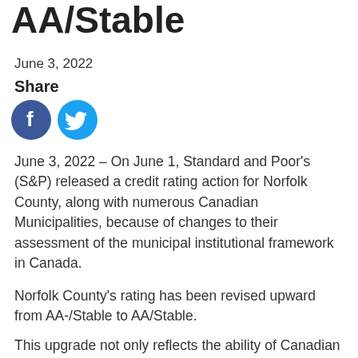AA/Stable
June 3, 2022
Share
[Figure (illustration): Facebook and Twitter social media share icons — circular buttons, Facebook dark blue with 'f', Twitter light blue with bird logo]
June 3, 2022 – On June 1, Standard and Poor's (S&P) released a credit rating action for Norfolk County, along with numerous Canadian Municipalities, because of changes to their assessment of the municipal institutional framework in Canada.
Norfolk County's rating has been revised upward from AA-/Stable to AA/Stable.
This upgrade not only reflects the ability of Canadian municipalities to maintain…